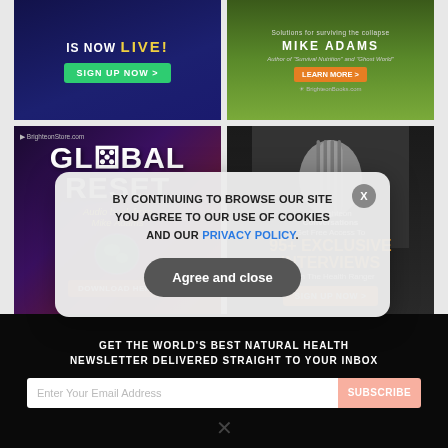[Figure (screenshot): Top-left ad banner: IS NOW LIVE! with green SIGN UP NOW button on dark blue background]
[Figure (screenshot): Top-right ad banner: Mike Adams - BrighteonBooks.com with LEARN MORE button]
[Figure (screenshot): Middle-left ad banner: Global Reset audiobook from Mike Adams on BrighteonStore.com with DOWNLOAD HERE button]
[Figure (screenshot): Middle-right ad banner: Brighteon Conversations - Get Free Access To 95+ EXCLUSIVE INTERVIEWS From The Health Ranger SIGN UP NOW button]
GET THE WORLD'S BEST NATURAL HEALTH NEWSLETTER DELIVERED STRAIGHT TO YOUR INBOX
Enter Your Email Address
SUBSCRIBE
BY CONTINUING TO BROWSE OUR SITE YOU AGREE TO OUR USE OF COOKIES AND OUR PRIVACY POLICY.
Agree and close